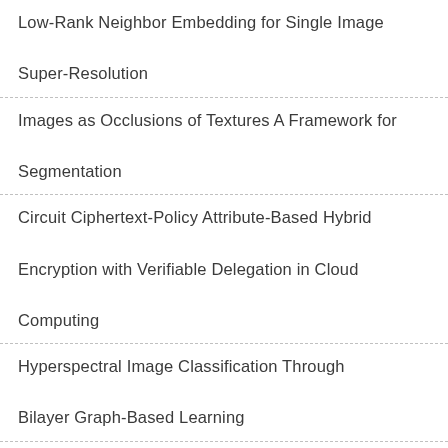Low-Rank Neighbor Embedding for Single Image Super-Resolution
Images as Occlusions of Textures A Framework for Segmentation
Circuit Ciphertext-Policy Attribute-Based Hybrid Encryption with Verifiable Delegation in Cloud Computing
Hyperspectral Image Classification Through Bilayer Graph-Based Learning
Fingerprint Compression Based on Sparse Representation
Exposing Digital Image Forgeries by Illumination